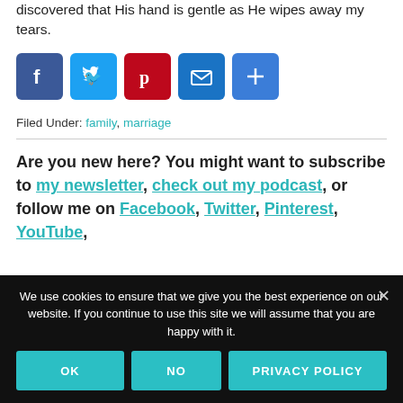discovered that His hand is gentle as He wipes away my tears.
[Figure (infographic): Social share buttons: Facebook (blue), Twitter (light blue), Pinterest (red), Email (blue), More/Share (blue with plus sign)]
Filed Under: family, marriage
Are you new here? You might want to subscribe to my newsletter, check out my podcast, or follow me on Facebook, Twitter, Pinterest, YouTube,
We use cookies to ensure that we give you the best experience on our website. If you continue to use this site we will assume that you are happy with it.